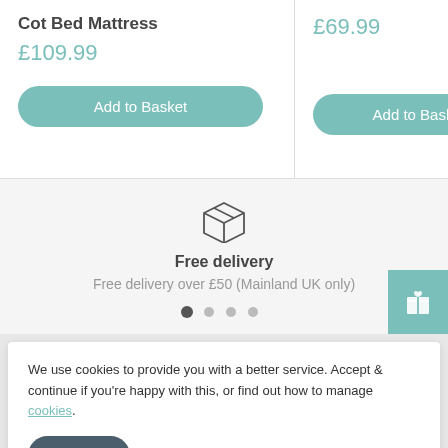Cot Bed Mattress
£109.99
Add to Basket
£69.99
Add to Bask
[Figure (illustration): Box/package icon representing delivery]
Free delivery
Free delivery over £50 (Mainland UK only)
[Figure (infographic): Slide carousel dots indicator, 4 dots with first active]
[Figure (infographic): Gift icon button in teal color]
We use cookies to provide you with a better service. Accept & continue if you're happy with this, or find out how to manage cookies.
Accept